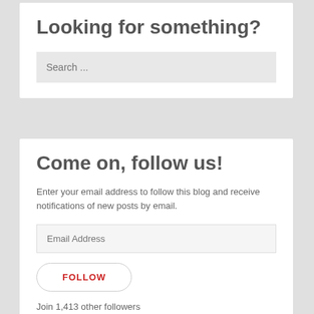Looking for something?
Search ...
Come on, follow us!
Enter your email address to follow this blog and receive notifications of new posts by email.
Email Address
FOLLOW
Join 1,413 other followers